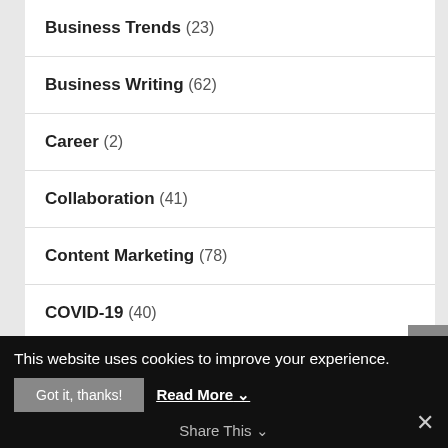Business Trends (23)
Business Writing (62)
Career (2)
Collaboration (41)
Content Marketing (78)
COVID-19 (40)
Customer Service (115)
Data & Analytics (34)
This website uses cookies to improve your experience.
Got it, thanks!  Read More
Share This